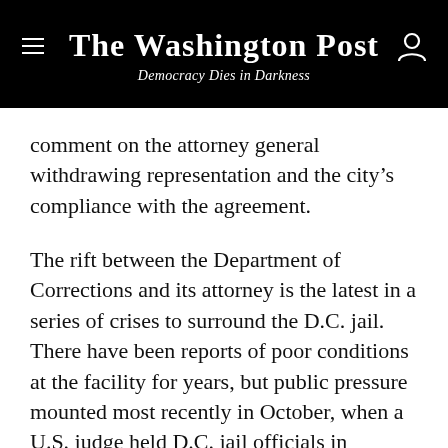The Washington Post
Democracy Dies in Darkness
comment on the attorney general withdrawing representation and the city's compliance with the agreement.
The rift between the Department of Corrections and its attorney is the latest in a series of crises to surround the D.C. jail. There have been reports of poor conditions at the facility for years, but public pressure mounted most recently in October, when a U.S. judge held D.C. jail officials in contempt of court over the alleged mistreatment of a defendant being held on charges related to the Jan. 6 attack. The judge also called on the